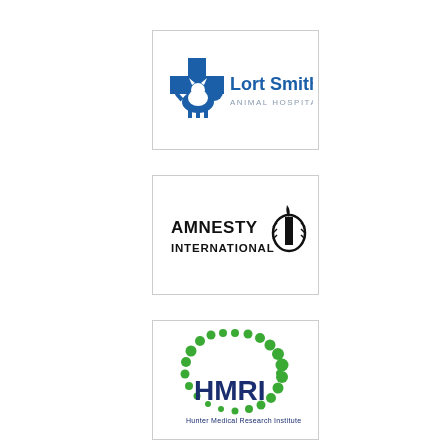[Figure (logo): Lort Smith Animal Hospital logo - blue cross/silhouette with cat and dog, text 'Lort Smith ANIMAL HOSPITAL' in blue/gray]
[Figure (logo): Amnesty International logo - text 'AMNESTY INTERNATIONAL' with candle wrapped in barbed wire symbol]
[Figure (logo): HMRI Hunter Medical Research Institute logo - green dotted oval shape with navy blue HMRI text]